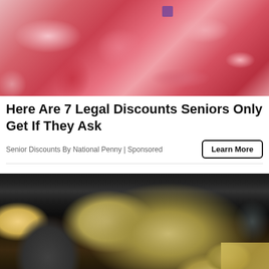[Figure (photo): Close-up photo of raw red meat cuts, various pieces of fresh beef/pork at a butcher or market display]
Here Are 7 Legal Discounts Seniors Only Get If They Ask
Senior Discounts By National Penny | Sponsored
[Figure (photo): Photo of a person holding a fan of US $100 dollar bills, with more stacks of money and foreign currency on a dark desk surface with a calculator and phone visible]